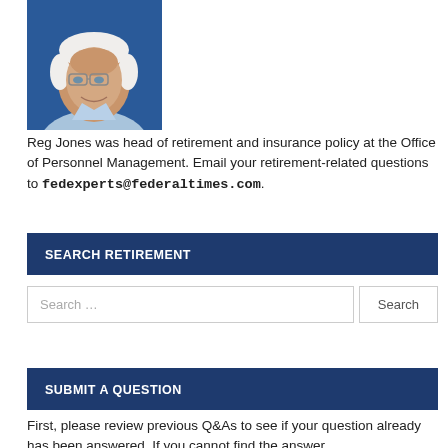[Figure (photo): Headshot of Reg Jones, an elderly white man with white hair and glasses, smiling, wearing a light blue shirt, against a blue background.]
Reg Jones was head of retirement and insurance policy at the Office of Personnel Management. Email your retirement-related questions to fedexperts@federaltimes.com.
SEARCH RETIREMENT
Search ...
SUBMIT A QUESTION
First, please review previous Q&As to see if your question already has been answered. If you cannot find the answer